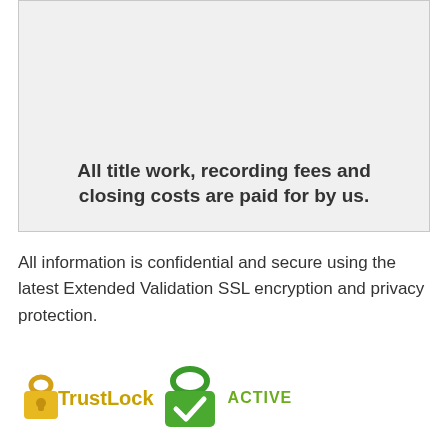All title work, recording fees and closing costs are paid for by us.
All information is confidential and secure using the latest Extended Validation SSL encryption and privacy protection.
[Figure (logo): TrustLock badge with golden padlock icon and green lock icon, with text 'TrustLock' in yellow/gold and 'ACTIVE' in green]